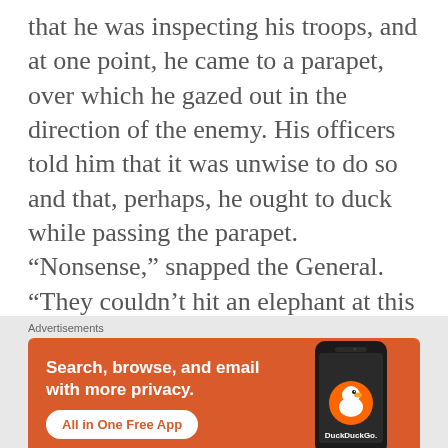that he was inspecting his troops, and at one point, he came to a parapet, over which he gazed out in the direction of the enemy. His officers told him that it was unwise to do so and that, perhaps, he ought to duck while passing the parapet. “Nonsense,” snapped the General. “They couldn’t hit an elephant at this dist. . .” A moment later, it is said, Sedgwick fell to the ground fatally wounded.
Advertisements
[Figure (other): DuckDuckGo advertisement banner. Orange background with white text reading 'Search, browse, and email with more privacy.' and a button 'All in One Free App'. Right side shows a smartphone with the DuckDuckGo duck logo and 'DuckDuckGo.' text.]